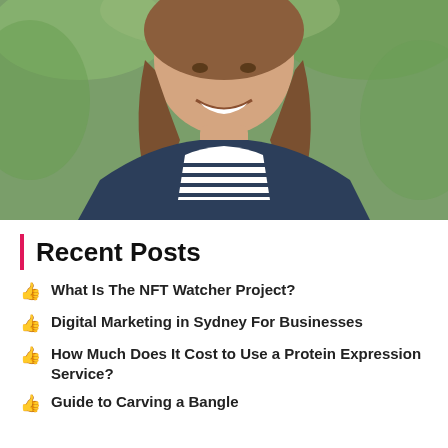[Figure (photo): Portrait photo of a smiling woman with long brown hair wearing a navy blazer over a black and white striped shirt, photographed outdoors with green background]
Recent Posts
What Is The NFT Watcher Project?
Digital Marketing in Sydney For Businesses
How Much Does It Cost to Use a Protein Expression Service?
Guide to Carving a Bangle